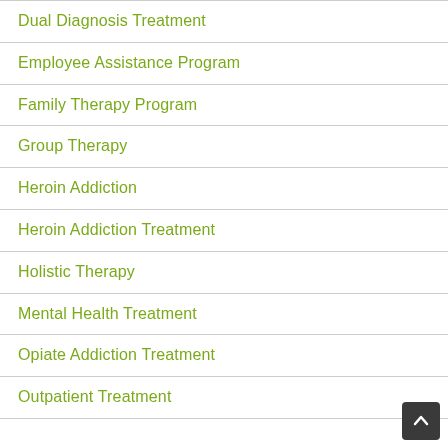Dual Diagnosis Treatment
Employee Assistance Program
Family Therapy Program
Group Therapy
Heroin Addiction
Heroin Addiction Treatment
Holistic Therapy
Mental Health Treatment
Opiate Addiction Treatment
Outpatient Treatment